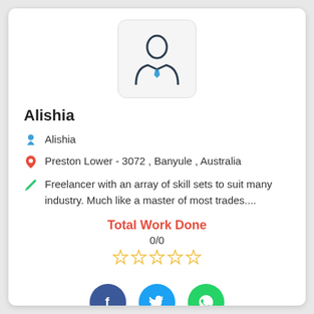[Figure (illustration): Profile avatar icon showing a generic person in business attire with a blue tie, inside a rounded rectangle box]
Alishia
Alishia
Preston Lower - 3072 , Banyule , Australia
Freelancer with an array of skill sets to suit many industry. Much like a master of most trades....
Total Work Done
0/0
[Figure (illustration): Five empty star rating icons in gold/yellow color]
[Figure (illustration): Social media icons: Facebook (dark blue circle with f), Twitter (blue circle with bird), WhatsApp (green circle with phone)]